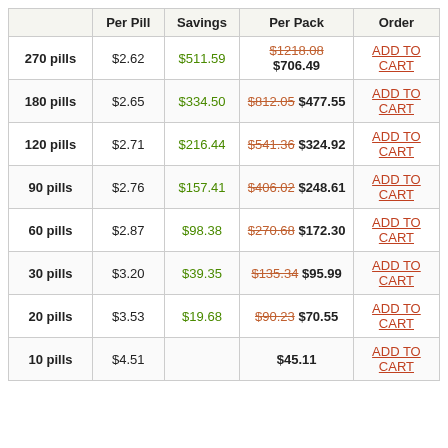|  | Per Pill | Savings | Per Pack | Order |
| --- | --- | --- | --- | --- |
| 270 pills | $2.62 | $511.59 | $1218.08 $706.49 | ADD TO CART |
| 180 pills | $2.65 | $334.50 | $812.05 $477.55 | ADD TO CART |
| 120 pills | $2.71 | $216.44 | $541.36 $324.92 | ADD TO CART |
| 90 pills | $2.76 | $157.41 | $406.02 $248.61 | ADD TO CART |
| 60 pills | $2.87 | $98.38 | $270.68 $172.30 | ADD TO CART |
| 30 pills | $3.20 | $39.35 | $135.34 $95.99 | ADD TO CART |
| 20 pills | $3.53 | $19.68 | $90.23 $70.55 | ADD TO CART |
| 10 pills | $4.51 |  | $45.11 | ADD TO CART |